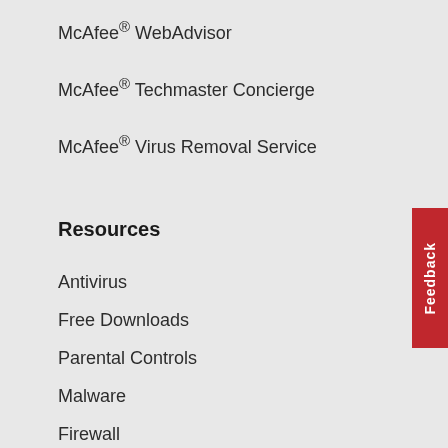McAfee® WebAdvisor
McAfee® Techmaster Concierge
McAfee® Virus Removal Service
Resources
Antivirus
Free Downloads
Parental Controls
Malware
Firewall
Blogs
Activate Retail Card
Threat Center
McAfee Enterprise